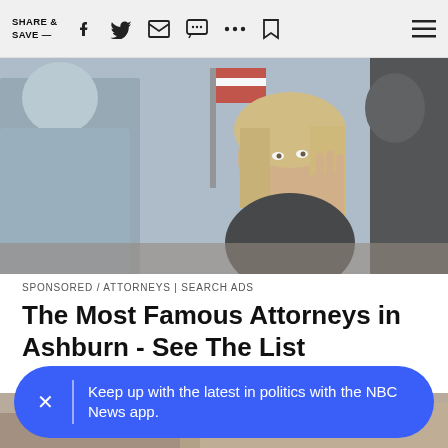SHARE & SAVE —
[Figure (photo): A blonde woman in a courtroom raising her hand as if taking an oath, with an American flag visible in the background. Other people partially visible on either side.]
SPONSORED / ATTORNEYS | SEARCH ADS
The Most Famous Attorneys in Ashburn - See The List
[Figure (photo): Partial view of a second image, showing a wooden surface, likely a courtroom desk.]
Keep up with the latest in politics with the NBC News app.